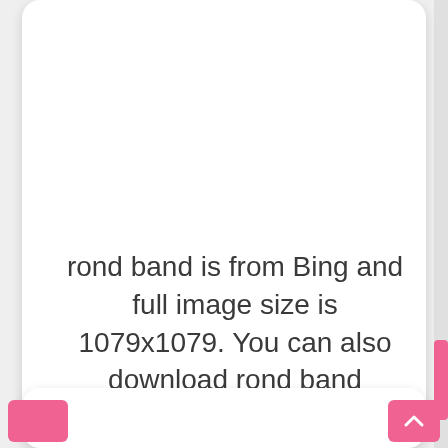rond band is from Bing and full image size is 1079x1079. You can also download rond band 1079x1079 here with full size from original source Bing